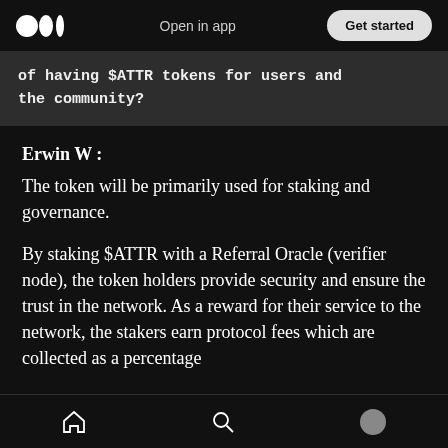Open in app | Get started
of having $ATTR tokens for users and the community?
Erwin W :
The token will be primarily used for staking and governance.
By staking $ATTR with a Referral Oracle (verifier node), the token holders provide security and ensure the trust in the network. As a reward for their service to the network, the stakers earn protocol fees which are collected as a percentage
Home | Search | Profile